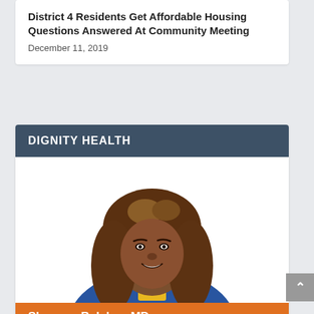District 4 Residents Get Affordable Housing Questions Answered At Community Meeting
December 11, 2019
DIGNITY HEALTH
[Figure (photo): Portrait photo of Shaunye Belcher, MD, a woman with long curly brown hair wearing a blue blazer and yellow top, smiling against a white background.]
Shaunye Belcher, MD
Family Medicine - Elk Grove, CA